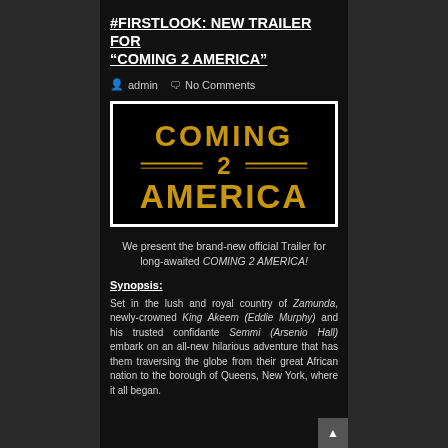#FIRSTLOOK: NEW TRAILER FOR “COMING 2 AMERICA”
admin  No Comments
[Figure (logo): Coming 2 America movie title logo in gold letters on black background]
We present the brand-new official Trailer for long-awaited COMING 2 AMERICA!
Synopsis:
Set in the lush and royal country of Zamunda, newly-crowned King Akeem (Eddie Murphy) and his trusted confidante Semmi (Arsenio Hall) embark on an all-new hilarious adventure that has them traversing the globe from their great African nation to the borough of Queens, New York, where it all began.